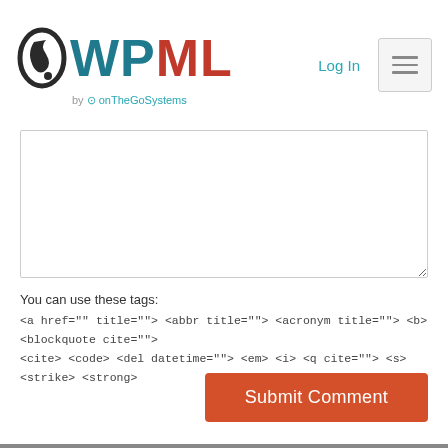WPML by onTheGoSystems — Log In
[Figure (screenshot): Empty comment textarea with resize handle]
You can use these tags:
<a href="" title=""> <abbr title=""> <acronym title=""> <b> <blockquote cite=""> <cite> <code> <del datetime=""> <em> <i> <q cite=""> <s> <strike> <strong>
[Figure (screenshot): Submit Comment button, orange/red color]